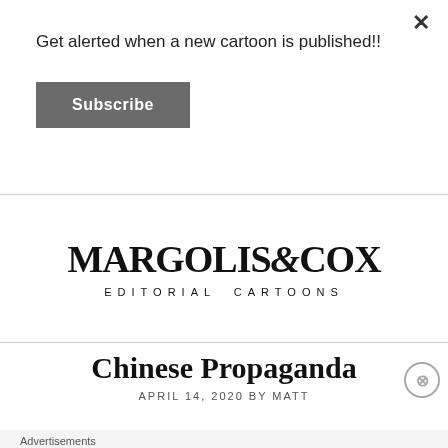Get alerted when a new cartoon is published!!
Subscribe
[Figure (logo): MARGOLIS&COX EDITORIAL CARTOONS logo]
Chinese Propaganda
APRIL 14, 2020 BY MATT
Advertisements
AUTOMATTIC
Build a better web and a better world.